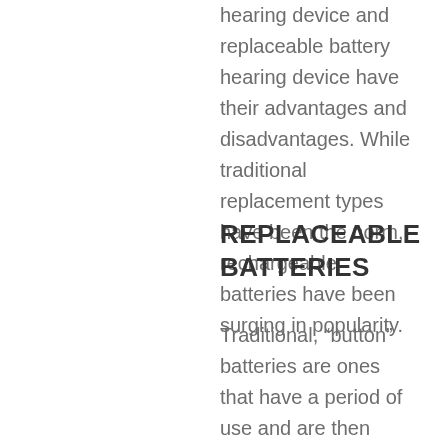hearing device and replaceable battery hearing device have their advantages and disadvantages. While traditional replacement types have been the norm, rechargeable batteries have been surging in popularity.
REPLACEABLE BATTERIES
Traditional, “button” batteries are ones that have a period of use and are then disposed of and replaced. Replacement batteries are typically easy to locate in a hearing device and packs of batteries are relatively inexpensive to replace. While they